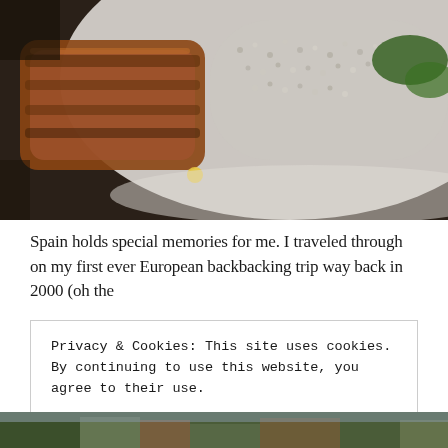[Figure (photo): Close-up photo of a plated dish with seared fish fillet and rice on a white plate, dark background with herbs]
Spain holds special memories for me. I traveled through on my first ever European backbacking trip way back in 2000 (oh the
Privacy & Cookies: This site uses cookies. By continuing to use this website, you agree to their use.
To find out more, including how to control cookies, see here:
Cookie Policy
CLOSE AND ACCEPT
[Figure (photo): Partial view of a garden or outdoor scenic photo at the bottom of the page]